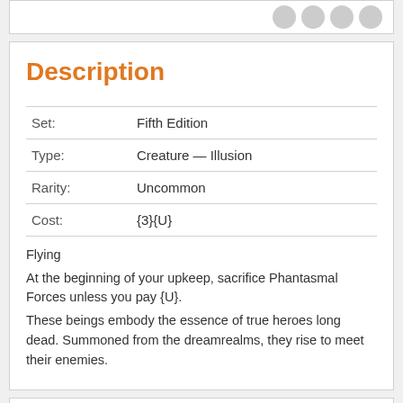Description
|  |  |
| --- | --- |
| Set: | Fifth Edition |
| Type: | Creature — Illusion |
| Rarity: | Uncommon |
| Cost: | {3}{U} |
Flying
At the beginning of your upkeep, sacrifice Phantasmal Forces unless you pay {U}.
These beings embody the essence of true heroes long dead. Summoned from the dreamrealms, they rise to meet their enemies.